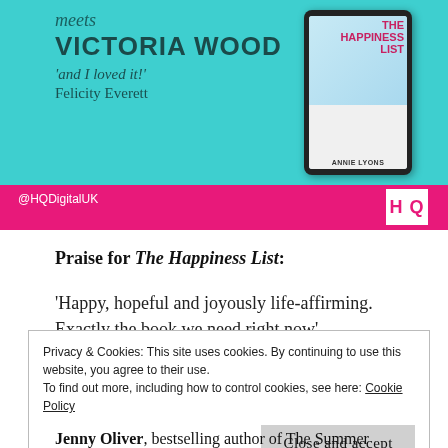[Figure (illustration): Book advertisement banner for 'The Happiness List' by Annie Lyons. Teal background with text 'meets VICTORIA WOOD and I loved it! Felicity Everett' and a tablet displaying the book cover. Pink bottom bar with @HQDigitalUK handle and HQ logo.]
Praise for The Happiness List:
‘Happy, hopeful and joyously life-affirming. Exactly the book we need right now’
Privacy & Cookies: This site uses cookies. By continuing to use this website, you agree to their use.
To find out more, including how to control cookies, see here: Cookie Policy
Close and accept
Jenny Oliver, bestselling author of The Summer